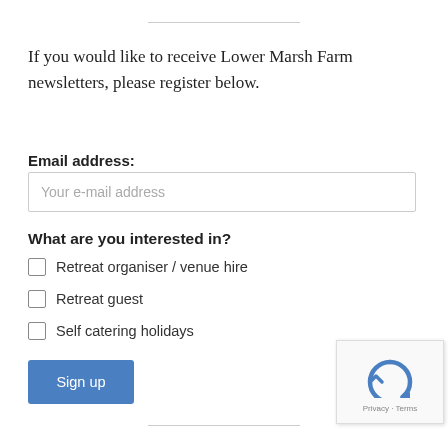If you would like to receive Lower Marsh Farm newsletters, please register below.
Email address:
Your e-mail address
What are you interested in?
Retreat organiser / venue hire
Retreat guest
Self catering holidays
Sign up
[Figure (other): reCAPTCHA widget with Privacy and Terms links]